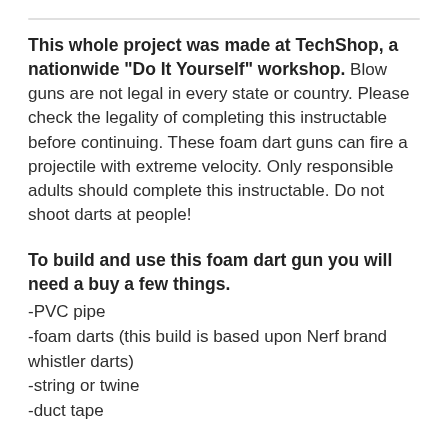This whole project was made at TechShop, a nationwide "Do It Yourself" workshop. Blow guns are not legal in every state or country. Please check the legality of completing this instructable before continuing. These foam dart guns can fire a projectile with extreme velocity. Only responsible adults should complete this instructable. Do not shoot darts at people!
To build and use this foam dart gun you will need a buy a few things.
-PVC pipe
-foam darts (this build is based upon Nerf brand whistler darts)
-string or twine
-duct tape